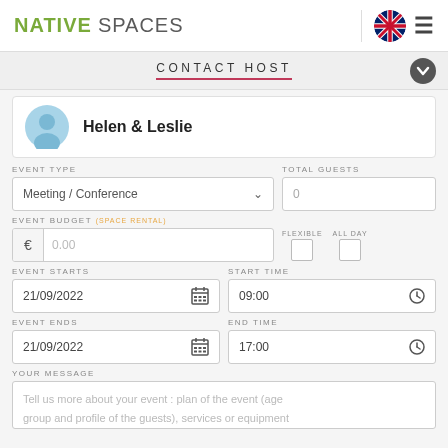NATIVE SPACES
CONTACT HOST
Helen & Leslie
EVENT TYPE: Meeting / Conference | TOTAL GUESTS: 0
EVENT BUDGET (SPACE RENTAL): €0.00 | FLEXIBLE | ALL DAY
EVENT STARTS: 21/09/2022 | START TIME: 09:00
EVENT ENDS: 21/09/2022 | END TIME: 17:00
YOUR MESSAGE: Tell us more about your event : plan of the event (age group and profile of the guests), services or equipment